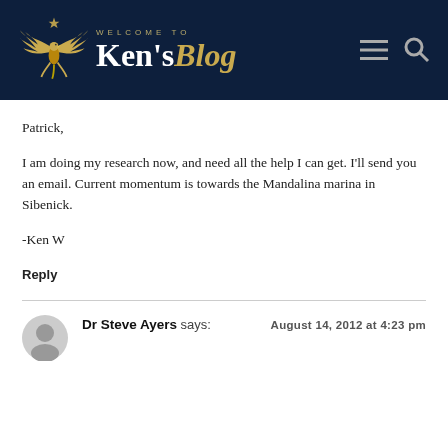[Figure (logo): Ken's Blog logo with golden phoenix/bird wings and 'Welcome to Ken's Blog' text on dark navy header]
Patrick,
I am doing my research now, and need all the help I can get. I’ll send you an email. Current momentum is towards the Mandalina marina in Sibenick.
-Ken W
Reply
Dr Steve Ayers says:
August 14, 2012 at 4:23 pm